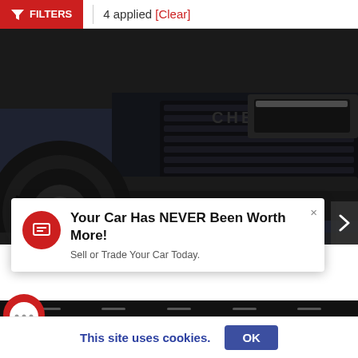FILTERS | 4 applied [Clear]
[Figure (photo): Close-up front view of a black Chevrolet truck showing the grille, headlight, front bumper with red tow hooks, and left front tire on a gray background]
Your Car Has NEVER Been Worth More! Sell or Trade Your Car Today.
ricksburg, VA
age: 35,950
This site uses cookies.
OK